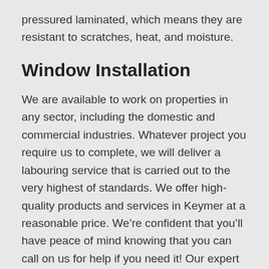pressured laminated, which means they are resistant to scratches, heat, and moisture.
Window Installation
We are available to work on properties in any sector, including the domestic and commercial industries. Whatever project you require us to complete, we will deliver a labouring service that is carried out to the very highest of standards. We offer high-quality products and services in Keymer at a reasonable price. We’re confident that you’ll have peace of mind knowing that you can call on us for help if you need it! Our expert team will help you choose the package best suited to your needs. Get in touch today by calling (0) 1273 287 287, and you can discover